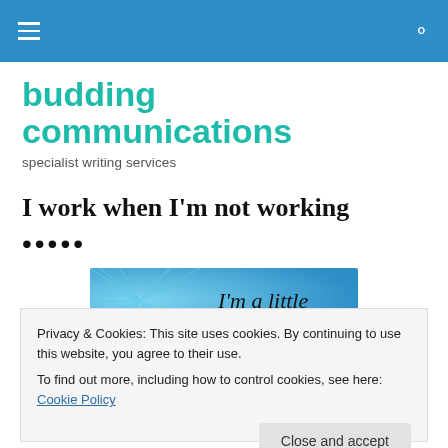budding communications – specialist writing services (navigation bar)
budding communications
specialist writing services
I work when I'm not working
….
[Figure (illustration): Comic-style illustration with blue ray background and text reading 'I'm a little']
Privacy & Cookies: This site uses cookies. By continuing to use this website, you agree to their use.
To find out more, including how to control cookies, see here: Cookie Policy
Close and accept